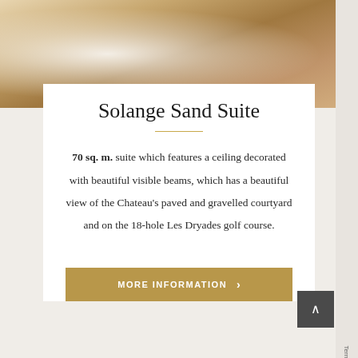[Figure (photo): Hotel bedroom with white bedding, wooden headboard, white pillows, and warm ambient lighting]
Solange Sand Suite
70 sq. m. suite which features a ceiling decorated with beautiful visible beams, which has a beautiful view of the Chateau's paved and gravelled courtyard and on the 18-hole Les Dryades golf course.
MORE INFORMATION